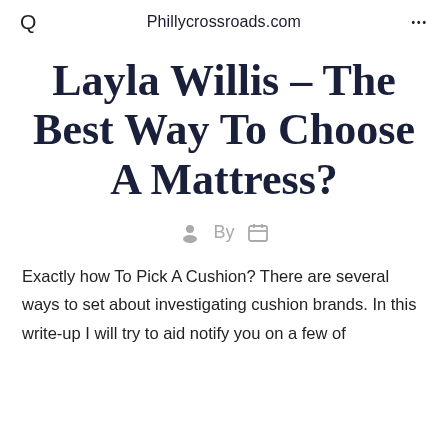Q  Phillycrossroads.com  ...
Layla Willis – The Best Way To Choose A Mattress?
By
Exactly how To Pick A Cushion? There are several ways to set about investigating cushion brands. In this write-up I will try to aid notify you on a few of